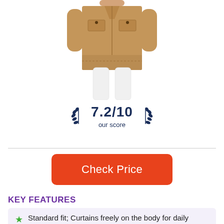[Figure (photo): Woman wearing a tan/khaki utility jacket with button chest pockets, paired with white pants. Model shown from neck to legs.]
7.2/10 our score
Check Price
KEY FEATURES
Standard fit; Curtains freely on the body for daily comfort.